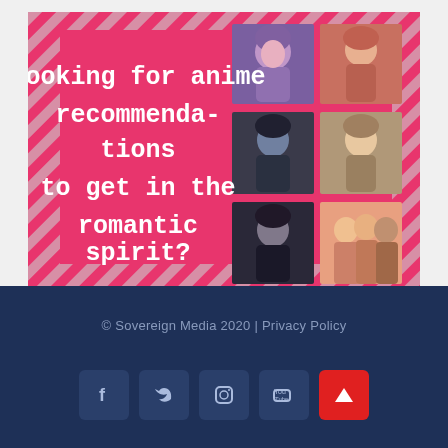[Figure (illustration): Promotional banner for anime recommendations. Pink/rose background with diagonal stripe border pattern. White bold text on left reads 'Looking for anime recommendations to get in the romantic spirit?'. Right side shows a 2x3 grid of anime character thumbnails.]
© Sovereign Media 2020 | Privacy Policy